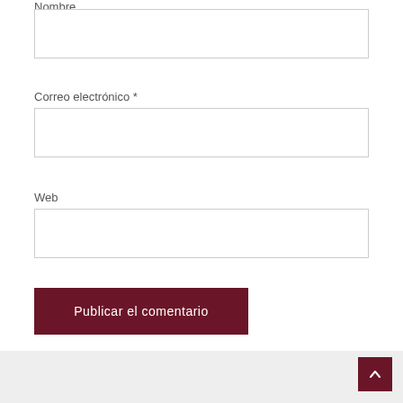Nombre
[Figure (other): Text input field for Nombre (Name)]
Correo electrónico *
[Figure (other): Text input field for Correo electrónico (Email)]
Web
[Figure (other): Text input field for Web (Website)]
[Figure (other): Button: Publicar el comentario]
[Figure (other): Scroll to top button with caret icon]